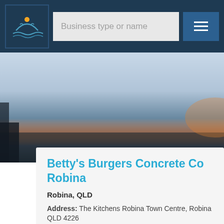[Figure (logo): Coastal/harbor logo with seagull and sun arc on dark blue background]
Business type or name
[Figure (screenshot): Sunset/harbor background photo with orange and blue sky tones]
Betty's Burgers Concrete Co Robina
Robina, QLD
Address: The Kitchens Robina Town Centre, Robina QLD 4226